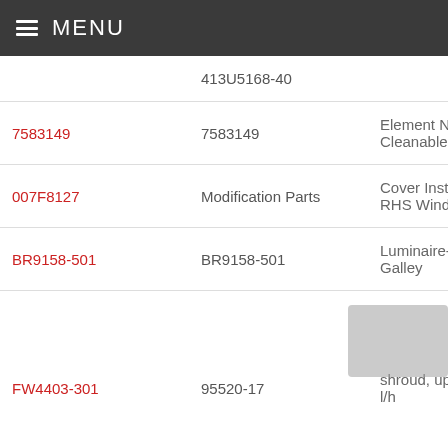MENU
| Part Link | Part Number | Description |
| --- | --- | --- |
|  | 413U5168-40 |  |
| 7583149 | 7583149 | Element Non Cleanable |
| 007F8127 | Modification Parts | Cover Instl No 2 RHS Window |
| BR9158-501 | BR9158-501 | Luminaire-Serving Galley |
| FW4403-301 | 95520-17 | shroud, upper arm, l/h |